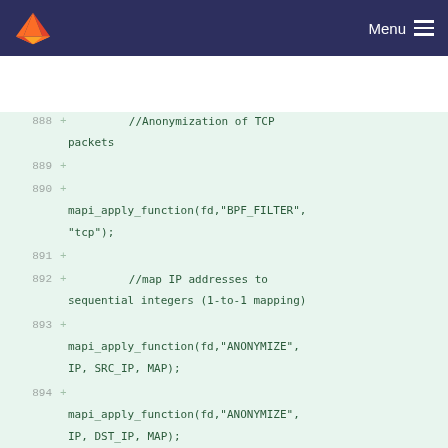Menu
[Figure (screenshot): GitLab-style code diff viewer showing lines 888-897 with added lines (marked with +) containing C code for TCP packet anonymization using mapi_apply_function calls with BPF_FILTER and ANONYMIZE operations]
888 + //Anonymization of TCP packets
889 +
890 + mapi_apply_function(fd,"BPF_FILTER", "tcp");
891 +
892 + //map IP addresses to sequential integers (1-to-1 mapping)
893 + mapi_apply_function(fd,"ANONYMIZE", IP, SRC_IP, MAP);
894 + mapi_apply_function(fd,"ANONYMIZE", IP, DST_IP, MAP);
895 +
896 + //replace with zero, tcp and ip options
897 + mapi_apply_function(fd,"ANONYMIZE", IP, OPTIONS, ZERO);